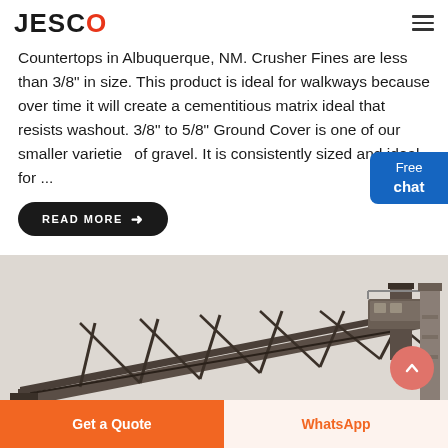JESCO
Countertops in Albuquerque, NM. Crusher Fines are less than 3/8" in size. This product is ideal for walkways because over time it will create a cementitious matrix ideal that resists washout. 3/8" to 5/8" Ground Cover is one of our smaller varieties of gravel. It is consistently sized and ideal for ...
READ MORE →
[Figure (photo): Industrial crane/conveyor structure with metal frame against a light background]
Get a Quote
WhatsApp